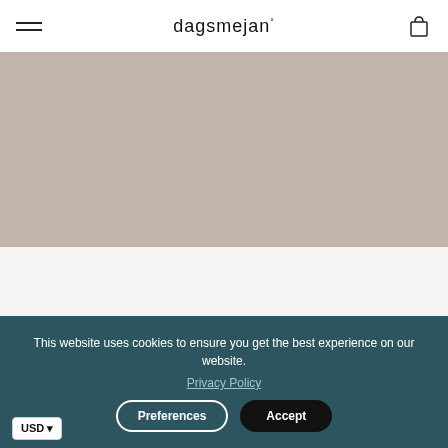dagsmejan°
[Figure (photo): Taupe/beige colored background area representing a product image section]
WEAR IT WITH
This website uses cookies to ensure you get the best experience on our website.
Privacy Policy
Preferences  Accept
USD